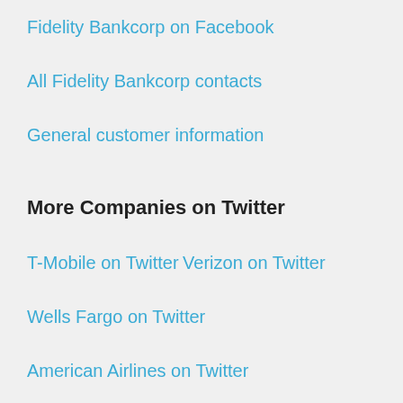Fidelity Bankcorp on Facebook
All Fidelity Bankcorp contacts
General customer information
More Companies on Twitter
T-Mobile on Twitter
Verizon on Twitter
Wells Fargo on Twitter
American Airlines on Twitter
Bank of America on Twitter
Paying Too Much for TV?
Want to talk to a real person right now who can